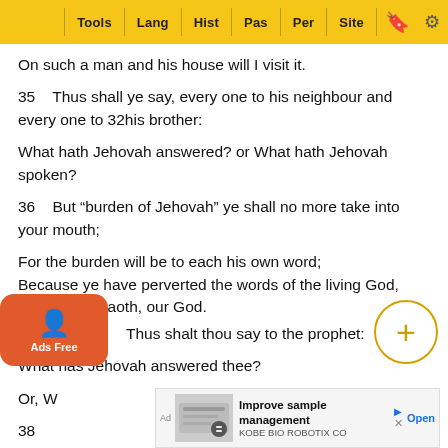Tools | Lang | Hist | Pas | Per | Site
On such a man and his house will I visit it.
35    Thus shall ye say, every one to his neighbour and every one to 32his brother:
What hath Jehovah answered? or What hath Jehovah spoken?
36    But “burden of Jehovah” ye shall no more take into your mouth;
For the burden will be to each his own word;
Because ye have perverted the words of the living God, Jehovah Zebaoth, our God.
Thus shalt thou say to the prophet:
What has Jehovah answered thee?
Or, W...
38    ...
[Figure (screenshot): Ads Free orange button with user icon]
[Figure (other): Plus circle button]
[Figure (screenshot): Ad banner: Improve sample management - KOBE BIO ROBOTIX CO - Open]